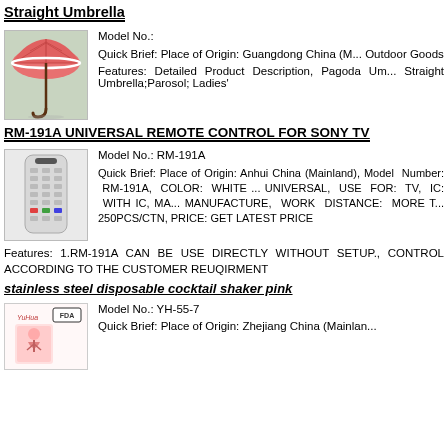Straight Umbrella
[Figure (photo): Photo of a red/pink straight umbrella with curved handle on an outdoor background]
Model No.:
Quick Brief: Place of Origin: Guangdong China (M... Outdoor Goods
Features: Detailed Product Description, Pagoda Um... Straight Umbrella;Parosol; Ladies'
RM-191A UNIVERSAL REMOTE CONTROL FOR SONY TV
[Figure (photo): Photo of a white universal remote control RM-191A for Sony TV]
Model No.: RM-191A
Quick Brief: Place of Origin: Anhui China (Mainland), Model Number: RM-191A, COLOR: WHITE ... UNIVERSAL, USE FOR: TV, IC: WITH IC, MA... MANUFACTURE, WORK DISTANCE: MORE T... 250PCS/CTN, PRICE: GET LATEST PRICE
Features: 1.RM-191A CAN BE USE DIRECTLY WITHOUT SETUP., CONTROL ACCORDING TO THE CUSTOMER REUQIRMENT
stainless steel disposable cocktail shaker pink
[Figure (photo): Photo of YuHua brand cocktail shaker product with FDA label]
Model No.: YH-55-7
Quick Brief: Place of Origin: Zhejiang China (Mainlan...